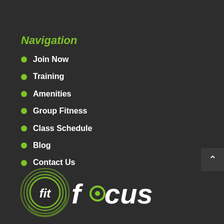Navigation
Join Now
Training
Amenities
Group Fitness
Class Schedule
Blog
Contact Us
[Figure (logo): Fit Focus gym logo: green circular swirl with 'fit' in white italic text inside, followed by 'focus' in white italic text to the right with a small green circle as the 'o']